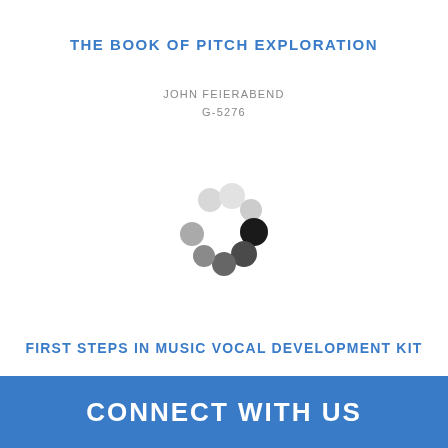THE BOOK OF PITCH EXPLORATION
JOHN FEIERABEND
G-5276
[Figure (logo): A circular arrangement of dots in varying shades from light gray to dark black, forming a loading/spinner-like logo]
FIRST STEPS IN MUSIC VOCAL DEVELOPMENT KIT
JOHN FEIERABEND
G-6400
CONNECT WITH US